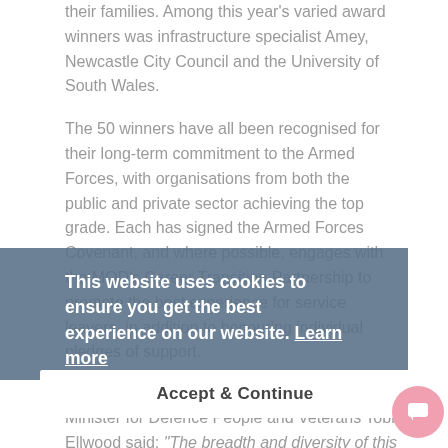their families. Among this year's varied award winners was infrastructure specialist Amey, Newcastle City Council and the University of South Wales.
The 50 winners have all been recognised for their long-term commitment to the Armed Forces, with organisations from both the public and private sector achieving the top grade. Each has signed the Armed Forces Covenant, and where possible, engages with the MOD's Career Transition Partnership to promote the best experience for service leavers, in addition to honouring individual pledges of support.
This website uses cookies to ensure you get the best experience on our website. Learn more
Accept & Continue
Minister for Defence People and Veterans Tobias Ellwood said: "The breadth and diversity of this year's winners shows how"